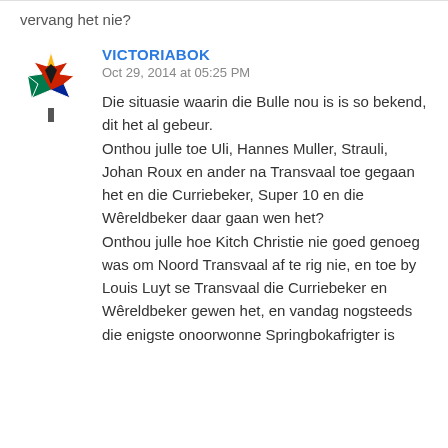vervang het nie?
VICTORIABOK
Oct 29, 2014 at 05:25 PM
Die situasie waarin die Bulle nou is is so bekend, dit het al gebeur.
Onthou julle toe Uli, Hannes Muller, Strauli, Johan Roux en ander na Transvaal toe gegaan het en die Curriebeker, Super 10 en die Wêreldbeker daar gaan wen het?
Onthou julle hoe Kitch Christie nie goed genoeg was om Noord Transvaal af te rig nie, en toe by Louis Luyt se Transvaal die Curriebeker en Wêreldbeker gewen het, en vandag nogsteeds die enigste onoorwonne Springbokafrigter is